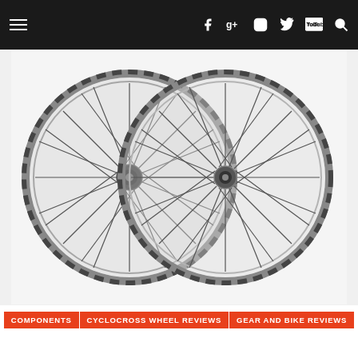Navigation bar with hamburger menu and social icons: Facebook, Google+, Instagram, Twitter, YouTube, Search
[Figure (photo): Two overlapping bicycle wheels (wheelset) with silver rims, black spokes, and black hubs, photographed against a white background.]
COMPONENTS | CYCLOCROSS WHEEL REVIEWS | GEAR AND BIKE REVIEWS